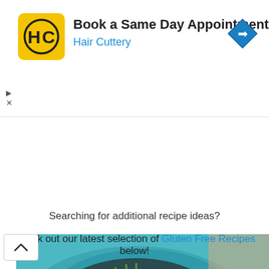[Figure (logo): Hair Cuttery HC logo in yellow rounded square with advertisement: Book a Same Day Appointment, Hair Cuttery. Navigation arrow icon on right. Play and close controls on left.]
[Figure (photo): Food photo showing Chicken Pad Thai in a blue bowl, with a dark semi-transparent overlay banner reading 'Chicken Pad Thai - Gluten Free' in white script font. A chevron up button is visible at top-left.]
Searching for additional recipe ideas?
Check out our latest selection of Gluten Free Recipes below!